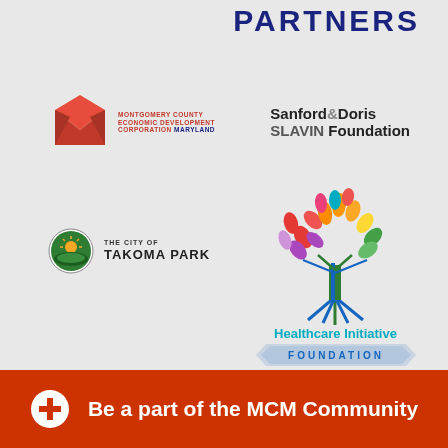PARTNERS
[Figure (logo): Montgomery County Economic Development Corporation Maryland logo - red geometric M shape with text]
[Figure (logo): Sanford & Doris SLAVIN Foundation logo - black and grey text]
[Figure (logo): The City of Takoma Park circular logo with sun/landscape emblem]
[Figure (logo): Healthcare Initiative Foundation logo - colorful tree with leaves in multiple colors, text below]
Be a part of the MCM Community